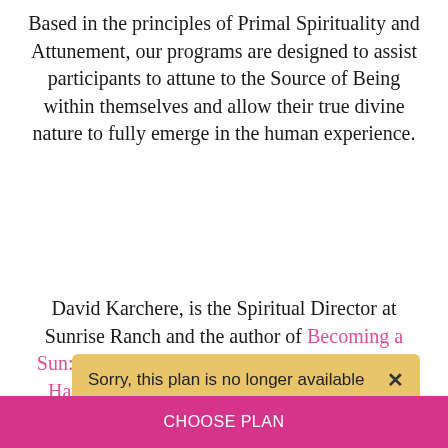Based in the principles of Primal Spirituality and Attunement, our programs are designed to assist participants to attune to the Source of Being within themselves and allow their true divine nature to fully emerge in the human experience.
David Karchere, is the Spiritual Director at Sunrise Ranch and the author of Becoming a Sun: Emotional and Spiritual Intelligence for a Happy, Fulfilling Life.  It has been a decade long dream to build an online community where people can do their inner-work, learn, grow and be supported in a...
[Figure (other): Toast notification banner with gold/yellow background reading 'Sorry, this plan is no longer available' with an X close button, overlaid on top of the main content near the bottom of the page]
CHOOSE PLAN (button area in pink/magenta bar at bottom)